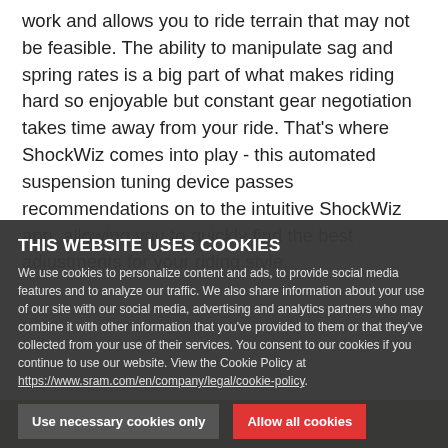work and allows you to ride terrain that may not be feasible. The ability to manipulate sag and spring rates is a big part of what makes riding hard so enjoyable but constant gear negotiation takes time away from your ride. That's where ShockWiz comes into play - this automated suspension tuning device passes recommendations on to the intuitive ShockWiz app, allowing you to quickly find the best adjustments for your riding style.
THIS WEBSITE USES COOKIES
We use cookies to personalize content and ads, to provide social media features and to analyze our traffic. We also share information about your use of our site with our social media, advertising and analytics partners who may combine it with other information that you've provided to them or that they've collected from your use of their services. You consent to our cookies if you continue to use our website. View the Cookie Policy at https://www.sram.com/en/company/legal/cookie-policy.
Use necessary cookies only
Allow all cookies
Show details